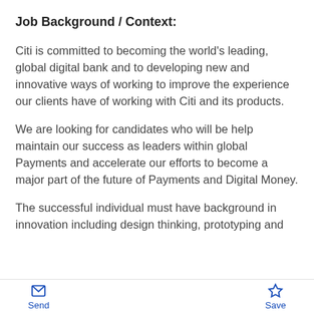Job Background / Context:
Citi is committed to becoming the world's leading, global digital bank and to developing new and innovative ways of working to improve the experience our clients have of working with Citi and its products.
We are looking for candidates who will be help maintain our success as leaders within global Payments and accelerate our efforts to become a major part of the future of Payments and Digital Money.
The successful individual must have background in innovation including design thinking, prototyping and
Send   Save